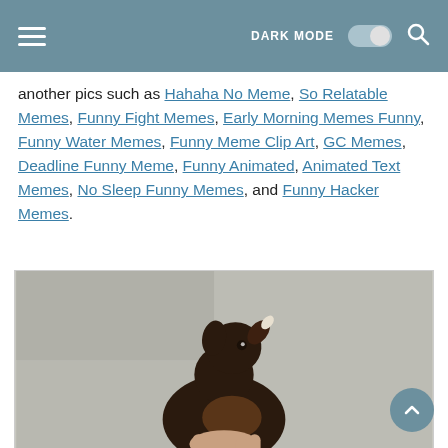DARK MODE [toggle]
another pics such as Hahaha No Meme, So Relatable Memes, Funny Fight Memes, Early Morning Memes Funny, Funny Water Memes, Funny Meme Clip Art, GC Memes, Deadline Funny Meme, Funny Animated, Animated Text Memes, No Sleep Funny Memes, and Funny Hacker Memes.
[Figure (photo): A dark-colored dog (appears to be a German Shepherd or similar breed) tilting its head upward with mouth open, photographed against a gray concrete background. The dog is being held by a person's hand.]